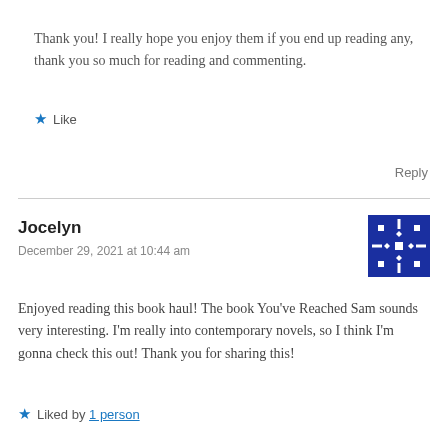Thank you! I really hope you enjoy them if you end up reading any, thank you so much for reading and commenting.
★ Like
Reply
Jocelyn
December 29, 2021 at 10:44 am
[Figure (illustration): Avatar image with blue and white geometric snowflake/kaleidoscope pattern]
Enjoyed reading this book haul! The book You've Reached Sam sounds very interesting. I'm really into contemporary novels, so I think I'm gonna check this out! Thank you for sharing this!
★ Liked by 1 person